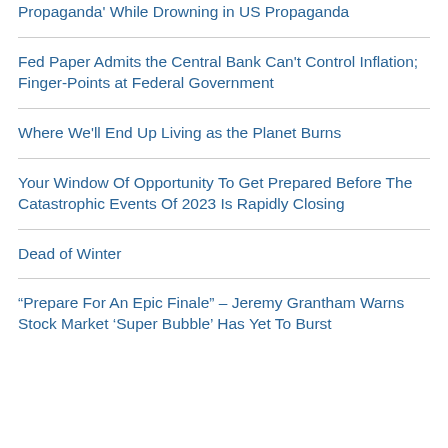Propaganda' While Drowning in US Propaganda
Fed Paper Admits the Central Bank Can't Control Inflation; Finger-Points at Federal Government
Where We'll End Up Living as the Planet Burns
Your Window Of Opportunity To Get Prepared Before The Catastrophic Events Of 2023 Is Rapidly Closing
Dead of Winter
“Prepare For An Epic Finale” – Jeremy Grantham Warns Stock Market ‘Super Bubble’ Has Yet To Burst